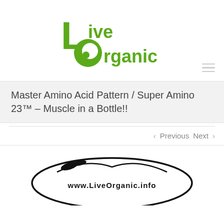[Figure (logo): Live Organic logo with stylized green 'L' and 'O' letters and 'ive rganic' text in green]
Master Amino Acid Pattern / Super Amino 23™ – Muscle in a Bottle!!
‹ Previous   Next ›
[Figure (logo): www.LiveOrganic.info oval logo mark in black and white, partially visible at bottom of page]